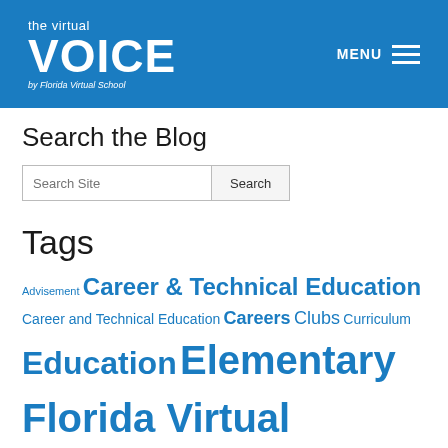the virtual VOICE by Florida Virtual School
Search the Blog
Search Site | Search
Tags
Advisement Career & Technical Education Career and Technical Education Careers Clubs Curriculum Education Elementary Florida Virtual School FLVS FLVS Clubs FLVS Corkboard FLVS Flex FLVS Flex Elementary FLVS Full Time FLVS Staff FLVS Teachers Goals Graduation High School Homeschool innovation Leadership Literacy Motivation Newsletter Online Education Online Elementary School Online Learning Professional Development Social Media STEM Student